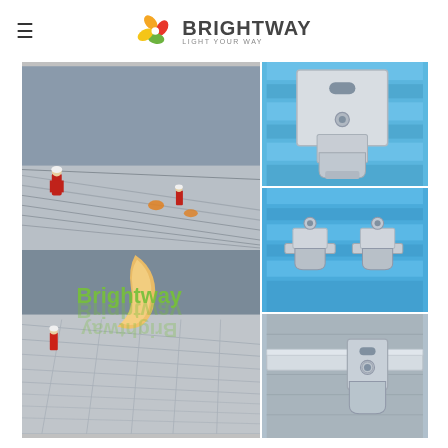Brightway — LIGHT YOUR WAY (logo header with hamburger menu)
[Figure (photo): Composite grid of 4 photos: large left panel showing workers in red hard hats on a wide industrial metal roof with corrugated panels (two separate roof-level shots stacked), overlaid with Brightway logo watermark (crescent-moon icon + 'Brightway' green text with reflection); top-right panel showing a close-up of an aluminium solar panel mounting clamp/bracket on a blue metal roof; middle-right panel showing two aluminium rail clamps/clips on a blue corrugated metal roof; bottom-right panel showing an aluminium rail with end-clamp hardware on a grey metal surface.]